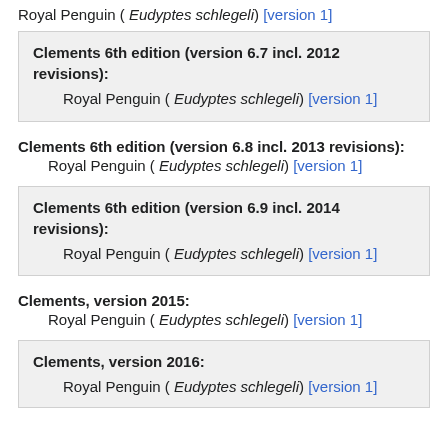Royal Penguin ( Eudyptes schlegeli) [version 1]
Clements 6th edition (version 6.7 incl. 2012 revisions):
Royal Penguin ( Eudyptes schlegeli) [version 1]
Clements 6th edition (version 6.8 incl. 2013 revisions):
Royal Penguin ( Eudyptes schlegeli) [version 1]
Clements 6th edition (version 6.9 incl. 2014 revisions):
Royal Penguin ( Eudyptes schlegeli) [version 1]
Clements, version 2015:
Royal Penguin ( Eudyptes schlegeli) [version 1]
Clements, version 2016:
Royal Penguin ( Eudyptes schlegeli) [version 1]